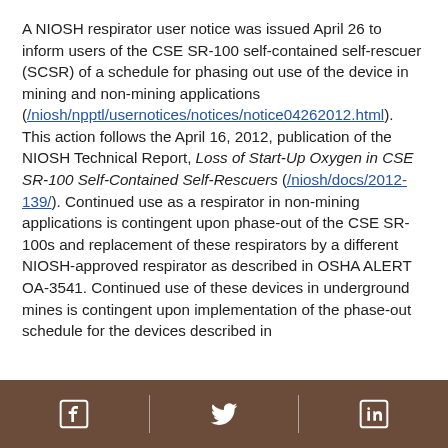A NIOSH respirator user notice was issued April 26 to inform users of the CSE SR-100 self-contained self-rescuer (SCSR) of a schedule for phasing out use of the device in mining and non-mining applications (/niosh/npptl/usernotices/notices/notice04262012.html). This action follows the April 16, 2012, publication of the NIOSH Technical Report, Loss of Start-Up Oxygen in CSE SR-100 Self-Contained Self-Rescuers (/niosh/docs/2012-139/). Continued use as a respirator in non-mining applications is contingent upon phase-out of the CSE SR-100s and replacement of these respirators by a different NIOSH-approved respirator as described in OSHA ALERT OA-3541. Continued use of these devices in underground mines is contingent upon implementation of the phase-out schedule for the devices described in
Facebook | Twitter | LinkedIn